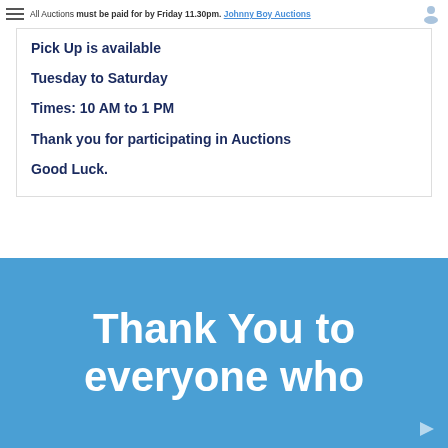All Auctions must be paid for by Friday 11.30pm. Johnny Boy Auctions
Pick Up is available
Tuesday to Saturday
Times: 10 AM to 1 PM
Thank you for participating in Auctions
Good Luck.
Thank You to everyone who